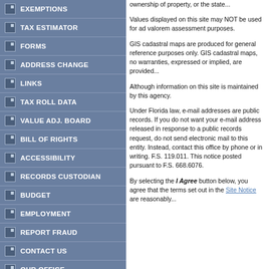EXEMPTIONS
TAX ESTIMATOR
FORMS
ADDRESS CHANGE
LINKS
TAX ROLL DATA
VALUE ADJ. BOARD
BILL OF RIGHTS
ACCESSIBILITY
RECORDS CUSTODIAN
BUDGET
EMPLOYMENT
REPORT FRAUD
CONTACT US
OUR OFFICE
SITE NOTICE
ownership of property, or the state...
Values displayed on this site may NOT be used for ad valorem assessment purposes.
GIS cadastral maps are produced for general reference purposes only. GIS cadastral maps, no warranties, expressed or implied, are provided...
Although information on this site is maintained by this agency.
Under Florida law, e-mail addresses are public records. If you do not want your e-mail address released in response to a public records request, do not send electronic mail to this entity. Instead, contact this office by phone or in writing. F.S. 119.011. This notice posted pursuant to F.S. 668.6076.
By selecting the I Agree button below, you agree that the terms set out in the Site Notice are reasonably...